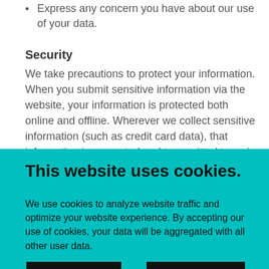Express any concern you have about our use of your data.
Security
We take precautions to protect your information. When you submit sensitive information via the website, your information is protected both online and offline. Wherever we collect sensitive information (such as credit card data), that information is encrypted and transmitted to us in a secure way. You can verify this by looking for a
This website uses cookies.
We use cookies to analyze website traffic and optimize your website experience. By accepting our use of cookies, your data will be aggregated with all other user data.
Decline
Accept